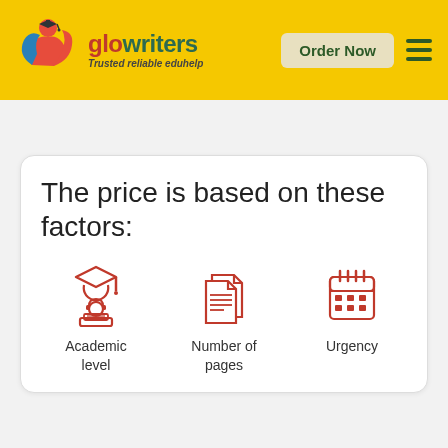glowriters – Trusted reliable eduhelp | Order Now
The price is based on these factors:
[Figure (illustration): Red icon of a student with graduation cap at a laptop]
Academic level
[Figure (illustration): Red icon of stacked document pages]
Number of pages
[Figure (illustration): Red icon of a calendar]
Urgency